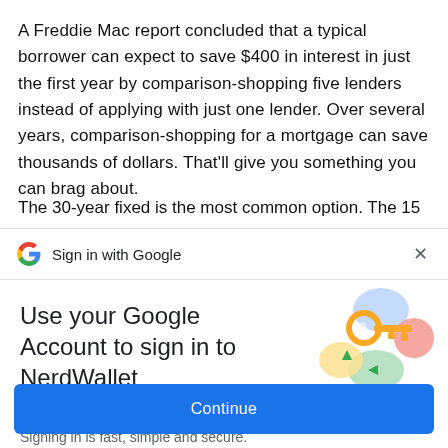A Freddie Mac report concluded that a typical borrower can expect to save $400 in interest in just the first year by comparison-shopping five lenders instead of applying with just one lender. Over several years, comparison-shopping for a mortgage can save thousands of dollars. That'll give you something you can brag about.
[Figure (screenshot): Sign in with Google modal overlay showing Google logo, 'Sign in with Google' header with close button, 'Use your Google Account to sign in to NerdWallet' title, 'No more passwords to remember. Signing in is fast, simple and secure.' subtitle, a key illustration, and a blue Continue button.]